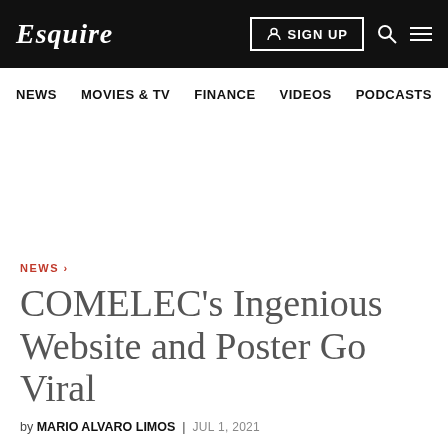Esquire | NEWS | MOVIES & TV | FINANCE | VIDEOS | PODCASTS | SIGN UP
NEWS ›
COMELEC's Ingenious Website and Poster Go Viral
by MARIO ALVARO LIMOS | JUL 1, 2021
Shares